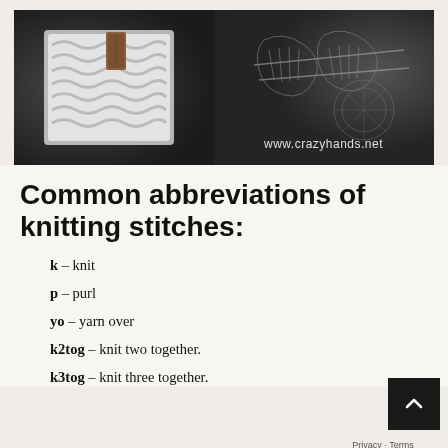[Figure (photo): Dark background photo of chunky knitted items with a leather tag label, overlaid with a line drawing of hands knitting. Watermark reads www.crazyhands.net]
Common abbreviations of knitting stitches:
k – knit
p – purl
yo – yarn over
k2tog – knit two together.
k3tog – knit three together.